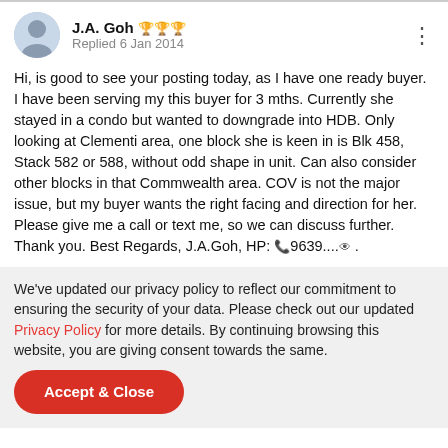J.A. Goh 🏆🏆🏆
Replied 6 Jan 2014
Hi, is good to see your posting today, as I have one ready buyer. I have been serving my this buyer for 3 mths. Currently she stayed in a condo but wanted to downgrade into HDB. Only looking at Clementi area, one block she is keen in is Blk 458, Stack 582 or 588, without odd shape in unit. Can also consider other blocks in that Commwealth area. COV is not the major issue, but my buyer wants the right facing and direction for her. Please give me a call or text me, so we can discuss further. Thank you. Best Regards, J.A.Goh, HP: 📞9639.... 👁 .
We've updated our privacy policy to reflect our commitment to ensuring the security of your data. Please check out our updated Privacy Policy for more details. By continuing browsing this website, you are giving consent towards the same.
Accept & Close